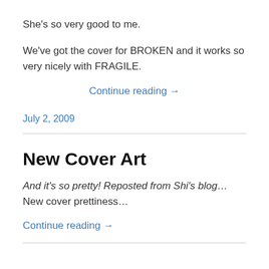She's so very good to me.
We've got the cover for BROKEN and it works so very nicely with FRAGILE.
Continue reading →
July 2, 2009
New Cover Art
And it's so pretty! Reposted from Shi's blog… New cover prettiness…
Continue reading →